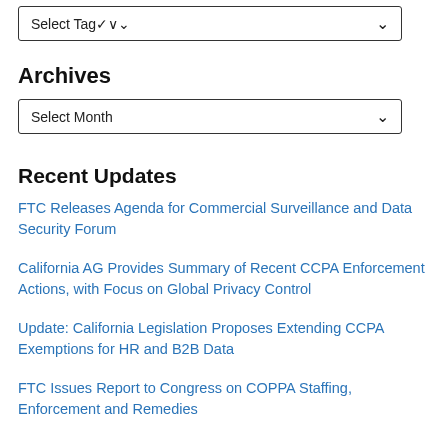[Figure (screenshot): A dropdown select box labeled 'Select Tag' with a chevron/down arrow on the right, bordered box UI element]
Archives
[Figure (screenshot): A dropdown select box labeled 'Select Month' with a chevron/down arrow on the right, bordered box UI element]
Recent Updates
FTC Releases Agenda for Commercial Surveillance and Data Security Forum
California AG Provides Summary of Recent CCPA Enforcement Actions, with Focus on Global Privacy Control
Update: California Legislation Proposes Extending CCPA Exemptions for HR and B2B Data
FTC Issues Report to Congress on COPPA Staffing, Enforcement and Remedies